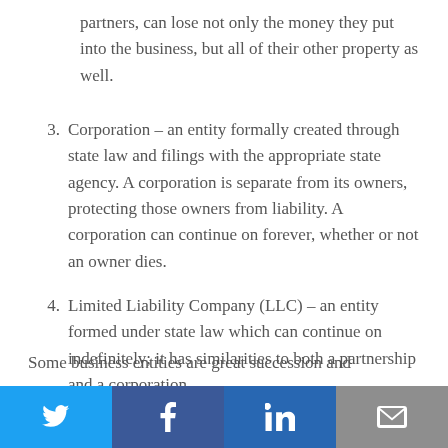partners, can lose not only the money they put into the business, but all of their other property as well.
3. Corporation – an entity formally created through state law and filings with the appropriate state agency. A corporation is separate from its owners, protecting those owners from liability. A corporation can continue on forever, whether or not an owner dies.
4. Limited Liability Company (LLC) – an entity formed under state law which can continue on indefinitely; it has similarities to both a partnership and a corporation.
Some business entities are great succession and